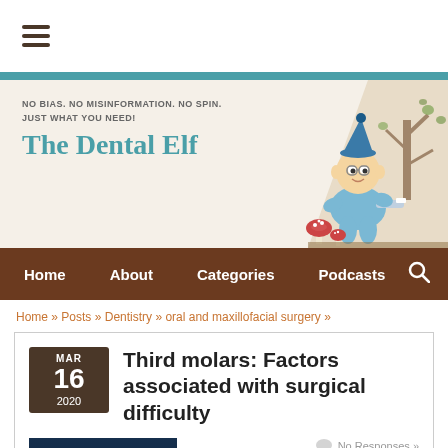[Figure (logo): Hamburger menu icon (three horizontal lines)]
[Figure (illustration): The Dental Elf website header banner with tagline 'NO BIAS. NO MISINFORMATION. NO SPIN. JUST WHAT YOU NEED!' and site title 'The Dental Elf', with illustrated cartoon elf character holding a toothbrush, mushrooms and tree in background]
Home   About   Categories   Podcasts
Home » Posts » Dentistry » oral and maxillofacial surgery »
Third molars: Factors associated with surgical difficulty
[Figure (photo): Dental panoramic X-ray showing teeth and jaw]
No Responses »
The removal of impacted third molars is one of the most commonly performed surgical procedures. Since the first predictive model of surgical difficulty in 1976 a number of studies to predict